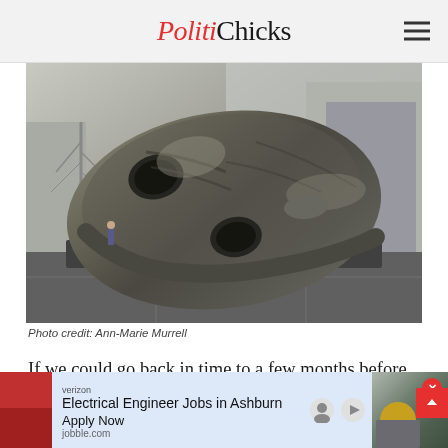PolitiChicks
[Figure (photo): Large bronze sculpture of a human head lying on its side on a dark stone platform, with hollow eye sockets and textured surface, photographed outdoors with buildings and bare trees in background]
Photo credit: Ann-Marie Murrell
If we could go back in time to a few months before the fall of Rome and warn her people of their impending doom—would
[Figure (screenshot): Advertisement bar: verizon Electrical Engineer Jobs in Ashburn, Apply Now, jobble.com, with adjacent image of person in yellow hard hat]